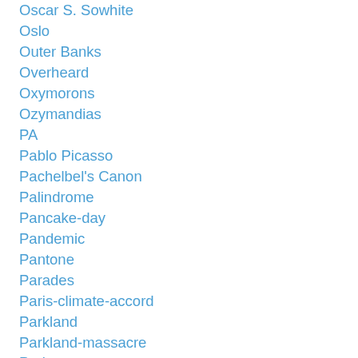Oscar S. Sowhite
Oslo
Outer Banks
Overheard
Oxymorons
Ozymandias
PA
Pablo Picasso
Pachelbel's Canon
Palindrome
Pancake-day
Pandemic
Pantone
Parades
Paris-climate-accord
Parkland
Parkland-massacre
Parler
Paul-manafort
Paul McCartney
Paul-ryan